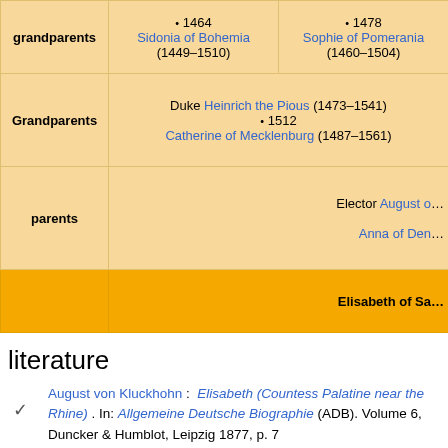|  | grandparents row | right col |
| --- | --- | --- |
| grandparents | ✦ 1464
Sidonia of Bohemia
(1449–1510) | ✦ 1478
Sophie of Pomerania
(1460–1504) |
| Grandparents | Duke Heinrich the Pious (1473–1541)
✦ 1512
Catherine of Mecklenburg (1487–1561) |  |
| parents |  | Elector August of...

Anna of Den... |
|  |  | Elisabeth of Sa... |
literature
August von Kluckhohn : Elisabeth (Countess Palatine near the Rhine) . In: Allgemeine Deutsche Biographie (ADB). Volume 6, Duncker & Humblot, Leipzig 1877, p. 7 f.